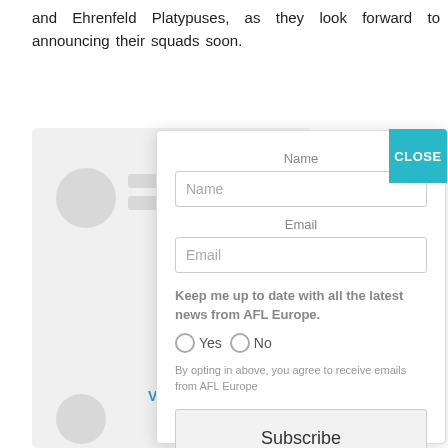and Ehrenfeld Platypuses, as they look forward to announcing their squads soon.
[Figure (screenshot): A subscription modal dialog overlaid on a blurred background card with avatar placeholder. The modal has a teal CLOSE button, Name and Email input fields, a Yes/No radio question about AFL Europe news, opt-in disclaimer text, and a Subscribe button.]